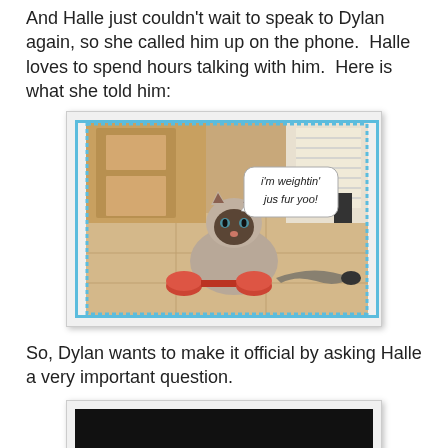And Halle just couldn't wait to speak to Dylan again, so she called him up on the phone.  Halle loves to spend hours talking with him.  Here is what she told him:
[Figure (photo): Meme photo of a Siamese cat sitting on a red dumbbell on a tile floor with a speech bubble saying 'i'm weightin' jus fur yoo!' The image has a blue dotted border.]
So, Dylan wants to make it official by asking Halle a very important question.
[Figure (photo): Partial dark/black image at bottom of page, beginning of another photo.]